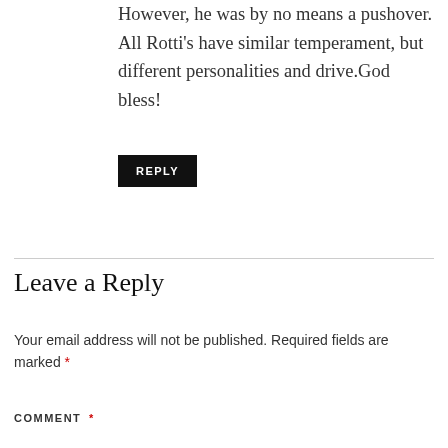However, he was by no means a pushover. All Rotti's have similar temperament, but different personalities and drive.God bless!
REPLY
Leave a Reply
Your email address will not be published. Required fields are marked *
COMMENT *